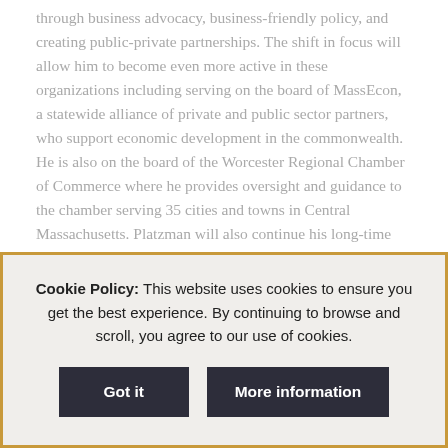through business advocacy, business-friendly policy, and creating public-private partnerships. The shift in focus will allow him to become even more active in these organizations including serving on the board of MassEcon, a statewide alliance of private and public sector partners, who support economic development in the commonwealth. He is also on the board of the Worcester Regional Chamber of Commerce where he provides oversight and guidance to the chamber serving 35 cities and towns in Central Massachusetts. Platzman will also continue his long-time involvement with his home chamber, the North Central Massachusetts Chamber of Commerce where he is a board member.
“There is tremendous work to be done and I’m convinced that AIS can continue to play an important role in this area. My New
Cookie Policy: This website uses cookies to ensure you get the best experience. By continuing to browse and scroll, you agree to our use of cookies.